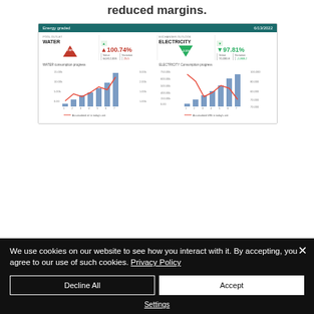reduced margins.
[Figure (screenshot): Energy graded dashboard screenshot dated 6/13/2022 showing WATER and ELECTRICITY KPI gauges with triangle indicators, WATER consumption progress bar chart and ELECTRICITY consumption bar chart with line overlays]
We use cookies on our website to see how you interact with it. By accepting, you agree to our use of such cookies. Privacy Policy
Decline All
Accept
Settings